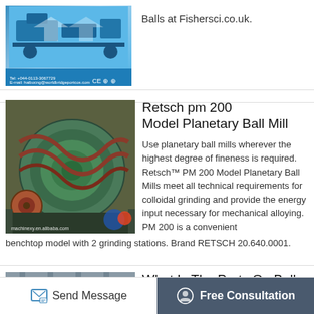[Figure (photo): Product image with blue background and certification logos at bottom]
Balls at Fishersci.co.uk.
[Figure (photo): Industrial planetary ball mill machinery photo from machinexy.en.alibaba.com]
Retsch pm 200 Model Planetary Ball Mill
Use planetary ball mills wherever the highest degree of fineness is required. Retsch™ PM 200 Model Planetary Ball Mills meet all technical requirements for colloidal grinding and provide the energy input necessary for mechanical alloying. PM 200 is a convenient benchtop model with 2 grinding stations. Brand RETSCH 20.640.0001.
[Figure (photo): Partial image of ball mill machinery at bottom]
What Is The Parts On Ball
Send Message   Free Consultation